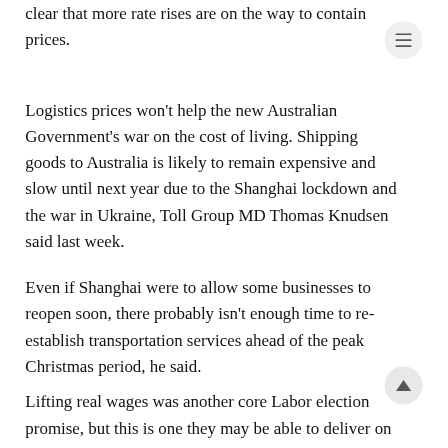clear that more rate rises are on the way to contain prices.
Logistics prices won't help the new Australian Government's war on the cost of living. Shipping goods to Australia is likely to remain expensive and slow until next year due to the Shanghai lockdown and the war in Ukraine, Toll Group MD Thomas Knudsen said last week.
Even if Shanghai were to allow some businesses to reopen soon, there probably isn't enough time to re-establish transportation services ahead of the peak Christmas period, he said.
Lifting real wages was another core Labor election promise, but this is one they may be able to deliver on more easily. Australia's unemployment rate was last